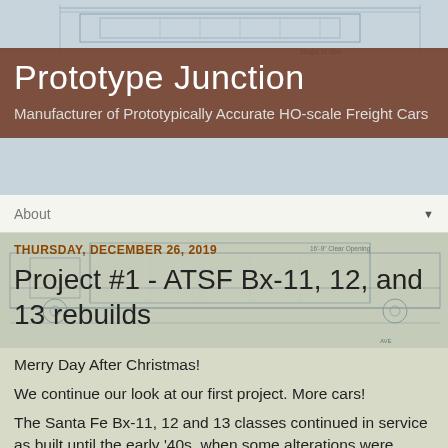[Figure (illustration): Blueprint/engineering drawing of a freight car, light blue-gray background with technical line drawings]
Prototype Junction
Manufacturer of Prototypically Accurate HO-scale Freight Cars
About ▼
[Figure (illustration): Blueprint engineering diagram of a freight rail car undercarriage, light blue-green tint]
THURSDAY, DECEMBER 26, 2019
Project #1 - ATSF Bx-11, 12, and 13 rebuilds
Merry Day After Christmas!
We continue our look at our first project. More cars!
The Santa Fe Bx-11, 12 and 13 classes continued in service as built until the early '40s, when some alterations were made to many, but not all, of the cars.